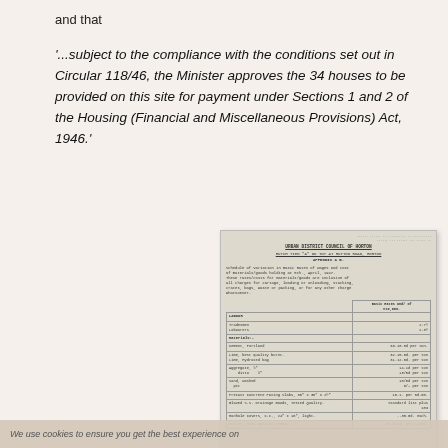and that
'...subject to the compliance with the conditions set out in Circular 118/46, the Minister approves the 34 houses to be provided on this site for payment under Sections 1 and 2 of the Housing (Financial and Miscellaneous Provisions) Act, 1946.'
[Figure (photo): Scanned document page showing an Urban District Council of Horton appendix form. It is a Schedule of Variation in Basic Rates of Wages and cost of materials/goods. The document lists Labour (Tradesmen, Labourers) and Materials (Cement Portland, Lime, Aggregate, Sand, Precast Concrete Paving Slabs, Glazed S.S. Drainage Goods, Manhole Covers, Bricks) with associated basic rates and costs per ton or each.]
We use cookies to ensure you get the best experience on